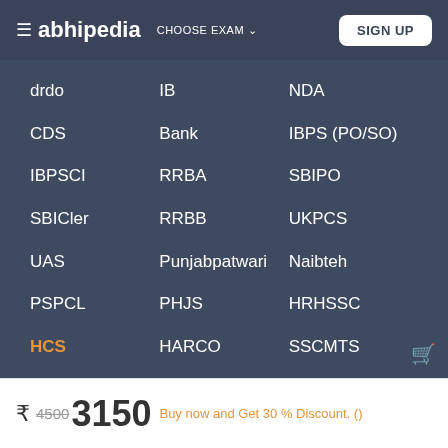≡ abhipedia  CHOOSE EXAM ∨  SIGN UP
drdo
IB
NDA
CDS
Bank
IBPS (PO/SO)
IBPSCI
RRBA
SBIPO
SBICler
RRBB
UKPCS
UAS
Punjabpatwari
Naibteh
PSPCL
PHJS
HRHSSC
HCS
HARCO
SSCMTS
₹ 4500 3150  Buy now and Get 30 % Discount. ()
BUY NOW  ADD TO CART